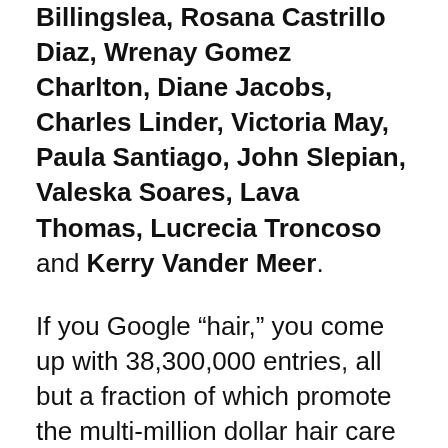Billingslea, Rosana Castrillo Diaz, Wrenay Gomez Charlton, Diane Jacobs, Charles Linder, Victoria May, Paula Santiago, John Slepian, Valeska Soares, Lava Thomas, Lucrecia Troncoso and Kerry Vander Meer.
If you Google “hair,” you come up with 38,300,000 entries, all but a fraction of which promote the multi-million dollar hair care industry. As a society we are obsessed with hair – cutting it, growing it, perming it, coloring it, moussing, shaving, curling and straightening it. Many of our ideas about nature and beauty, gender and